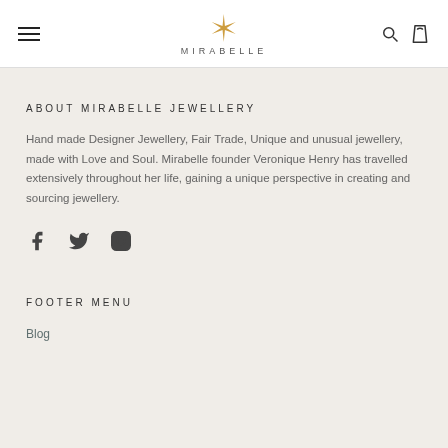MIRABELLE
ABOUT MIRABELLE JEWELLERY
Hand made Designer Jewellery, Fair Trade, Unique and unusual jewellery, made with Love and Soul. Mirabelle founder Veronique Henry has travelled extensively throughout her life, gaining a unique perspective in creating and sourcing jewellery.
[Figure (other): Social media icons: Facebook, Twitter, Instagram]
FOOTER MENU
Blog